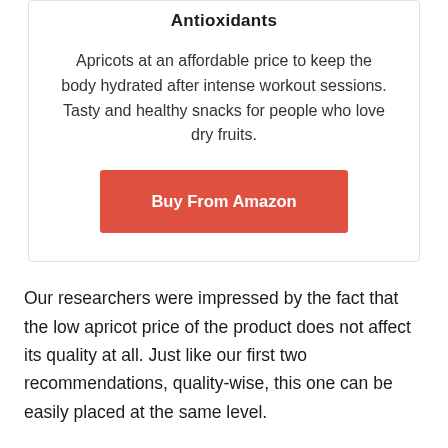Antioxidants
Apricots at an affordable price to keep the body hydrated after intense workout sessions. Tasty and healthy snacks for people who love dry fruits.
Buy From Amazon
Our researchers were impressed by the fact that the low apricot price of the product does not affect its quality at all. Just like our first two recommendations, quality-wise, this one can be easily placed at the same level.